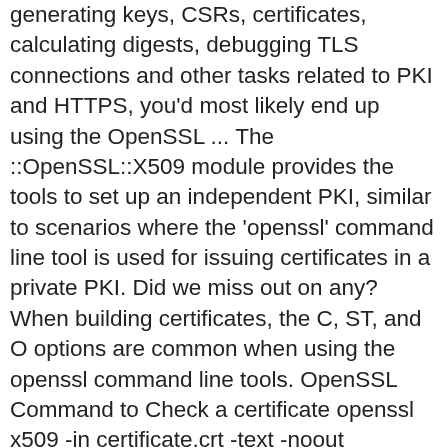generating keys, CSRs, certificates, calculating digests, debugging TLS connections and other tasks related to PKI and HTTPS, you'd most likely end up using the OpenSSL ... The ::OpenSSL::X509 module provides the tools to set up an independent PKI, similar to scenarios where the 'openssl' command line tool is used for issuing certificates in a private PKI. Did we miss out on any? When building certificates, the C, ST, and O options are common when using the openssl command line tools. OpenSSL Command to Check a certificate openssl x509 -in certificate.crt -text -noout OpenSSL Command to Check a PKCS#12 file (.pfx file) openssl pkcs12 -info -in keyStore.p12. OpenSSL is basically a console application, meaning that we'll use it from the command-line: after the installation process completes, it's important to check that the installation folder (C:\Program Files\OpenSSL-Win64\bin for the 64-bit version) has been added to the system PATH (Control Panel > System> Advanced > Environment Variables): if it's not the case, we strongly ... This notion seems to be particular to OpenSSL. OpenSSL also implements obviously the famous Secure Socket Layer (SSL)